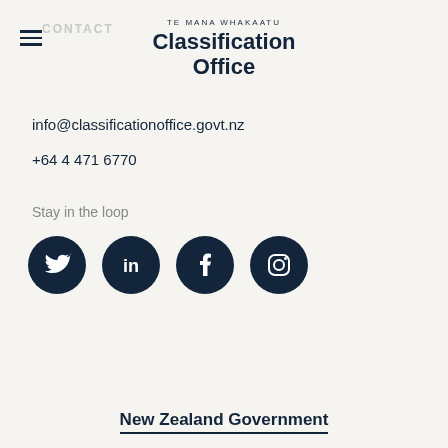TE MANA WHAKAATU
Classification Office
info@classificationoffice.govt.nz
+64 4 471 6770
Stay in the loop
[Figure (illustration): Four social media icons (Twitter, LinkedIn, Facebook, Instagram) as white icons on dark navy circular backgrounds]
New Zealand Government